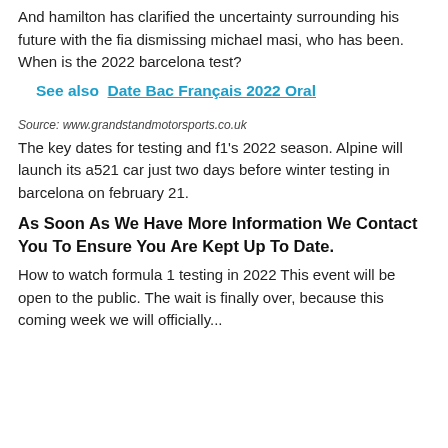And hamilton has clarified the uncertainty surrounding his future with the fia dismissing michael masi, who has been. When is the 2022 barcelona test?
See also  Date Bac Français 2022 Oral
Source: www.grandstandmotorsports.co.uk
The key dates for testing and f1's 2022 season. Alpine will launch its a521 car just two days before winter testing in barcelona on february 21.
As Soon As We Have More Information We Contact You To Ensure You Are Kept Up To Date.
How to watch formula 1 testing in 2022 This event will be open to the public. The wait is finally over, because this coming week we will officially...